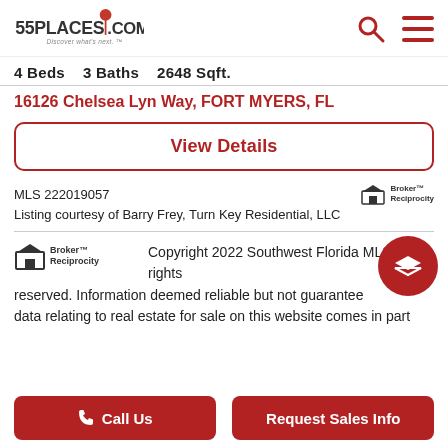55PLACES.COM — Discover what's next.
4 Beds   3 Baths   2648 Sqft.
16126 Chelsea Lyn Way, FORT MYERS, FL
View Details
MLS 222019057
Listing courtesy of Barry Frey, Turn Key Residential, LLC
Copyright 2022 Southwest Florida MLS. All rights reserved. Information deemed reliable but not guaranteed. data relating to real estate for sale on this website comes in part
Call Us   Request Sales Info